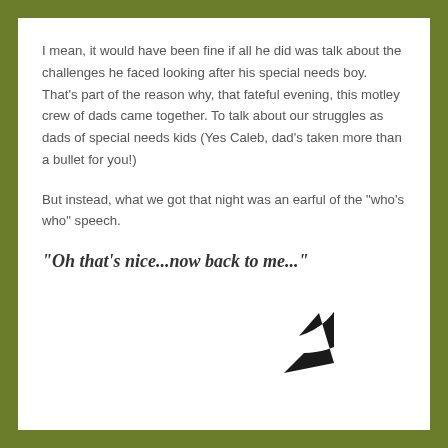I mean, it would have been fine if all he did was talk about the challenges he faced looking after his special needs boy. That’s part of the reason why, that fateful evening, this motley crew of dads came together. To talk about our struggles as dads of special needs kids (Yes Caleb, dad’s taken more than a bullet for you!)
But instead, what we got that night was an earful of the “who’s who” speech.
“Oh that’s nice…now back to me…”
[Figure (illustration): A circular refresh/repeat arrow icon in dark/black color, partially visible at the bottom of the page]